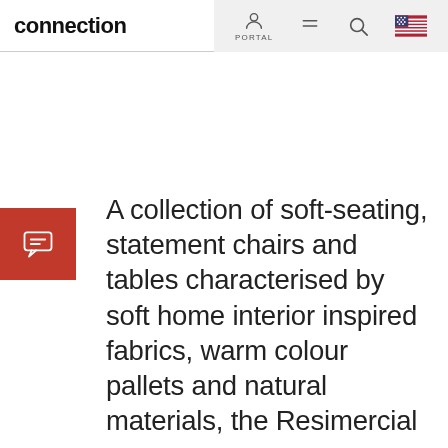connection  PORTAL
[Figure (infographic): Red square button with a chat/speech bubble icon (white outline)]
A collection of soft-seating, statement chairs and tables characterised by soft home interior inspired fabrics, warm colour pallets and natural materials, the Resimercial